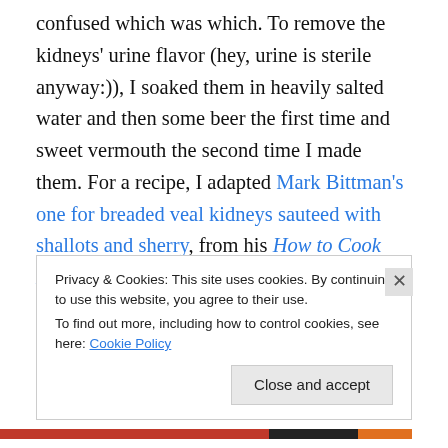confused which was which. To remove the kidneys' urine flavor (hey, urine is sterile anyway:)), I soaked them in heavily salted water and then some beer the first time and sweet vermouth the second time I made them. For a recipe, I adapted Mark Bittman's one for breaded veal kidneys sauteed with shallots and sherry, from his How to Cook Everything. I drained the kidneys and discarded their liquid, removed tough white membranes, sliced them into tender medallions, salted and peppered them, then dredged in flour and pan-fried in butter. I kept them warm in a 200 degree oven while I sauteed shallots with more
Privacy & Cookies: This site uses cookies. By continuing to use this website, you agree to their use.
To find out more, including how to control cookies, see here: Cookie Policy